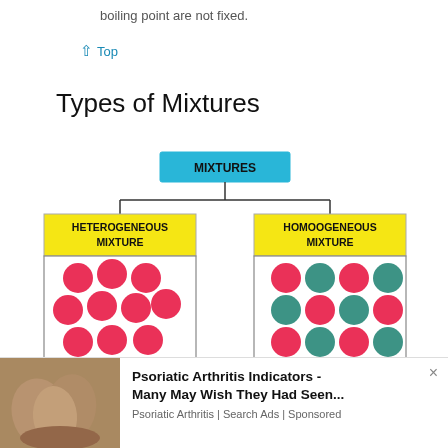boiling point are not fixed.
↑ Top
Types of Mixtures
[Figure (organizational-chart): Hierarchy diagram showing MIXTURES at top, branching into HETEROGENEOUS MIXTURE (left, yellow header with pink/red circles scattered) and HOMOOGENEOUS MIXTURE (right, yellow header with alternating pink and teal circles in a grid pattern)]
Psoriatic Arthritis Indicators - Many May Wish They Had Seen... Psoriatic Arthritis | Search Ads | Sponsored